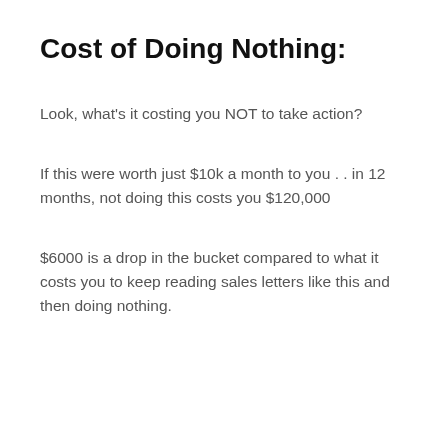Cost of Doing Nothing:
Look, what's it costing you NOT to take action?
If this were worth just $10k a month to you . . in 12 months, not doing this costs you $120,000
$6000 is a drop in the bucket compared to what it costs you to keep reading sales letters like this and then doing nothing.